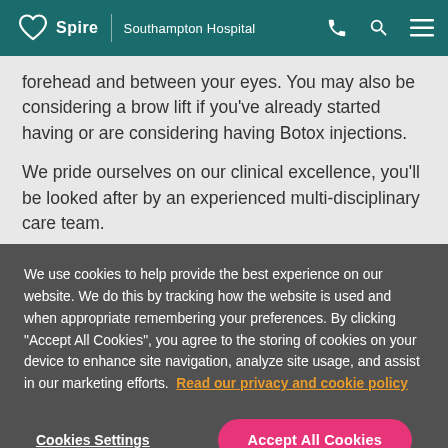Spire | Southampton Hospital
forehead and between your eyes. You may also be considering a brow lift if you've already started having or are considering having Botox injections.
We pride ourselves on our clinical excellence, you'll be looked after by an experienced multi-disciplinary care team.
We use cookies to help provide the best experience on our website. We do this by tracking how the website is used and when appropriate remembering your preferences. By clicking "Accept All Cookies", you agree to the storing of cookies on your device to enhance site navigation, analyze site usage, and assist in our marketing efforts. Read our privacy and cookie policy
Cookies Settings
Accept All Cookies